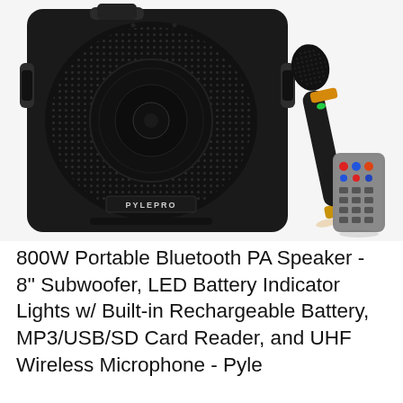[Figure (photo): Product photo of a PylePro portable Bluetooth PA speaker system (black, with mesh grille and handles), a handheld UHF wireless microphone (black with gold/orange accent band and green LED indicator), and a small grey remote control with colored buttons.]
800W Portable Bluetooth PA Speaker - 8'' Subwoofer, LED Battery Indicator Lights w/ Built-in Rechargeable Battery, MP3/USB/SD Card Reader, and UHF Wireless Microphone - Pyle